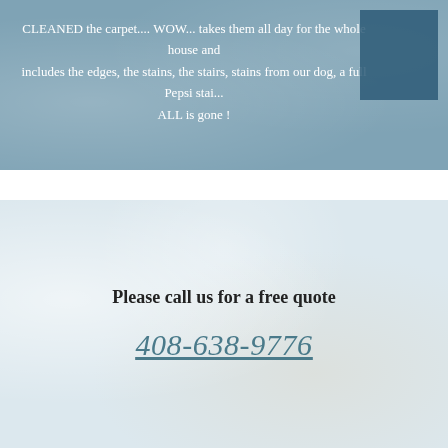CLEANED the carpet.... WOW... takes them all day for the whole house and includes the edges, the stains, the stairs, stains from our dog, a full Pepsi stai... ALL is gone !
Servicing The San Jose Bay Area
San Jose, Morgan Hill, Los Gatos, Saratoga, Willow Glen, Almaden, Santa Clara, Sunnyvale, Campbell, Cupertino, Milpitas, Fremont, Mountain View, Los Altos, San Martin, Gilroy, Monte Sereno, Evergreen, Palo Alto
Please call us for a free quote
408-638-9776